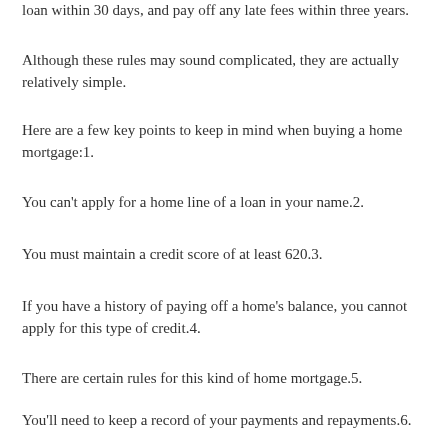loan within 30 days, and pay off any late fees within three years.
Although these rules may sound complicated, they are actually relatively simple.
Here are a few key points to keep in mind when buying a home mortgage:1.
You can't apply for a home line of a loan in your name.2.
You must maintain a credit score of at least 620.3.
If you have a history of paying off a home's balance, you cannot apply for this type of credit.4.
There are certain rules for this kind of home mortgage.5.
You'll need to keep a record of your payments and repayments.6.
The interest rate is usually more than the rate on your standard